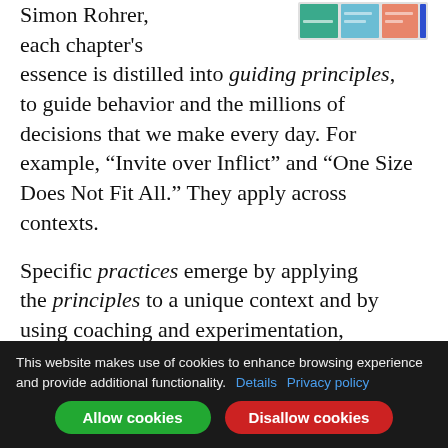Simon Rohrer, each chapter's essence is distilled into guiding principles, to guide behavior and the millions of decisions that we make every day. For example, “Invite over Inflict” and “One Size Does Not Fit All.” They apply across contexts.
[Figure (screenshot): Small screenshot thumbnail showing colored UI blocks/bars in teal, light blue, salmon/orange, and dark blue colors]
Specific practices emerge by applying the principles to a unique context and by using coaching and experimentation, leveraging many bodies of knowledge. As
This website makes use of cookies to enhance browsing experience and provide additional functionality. Details Privacy policy